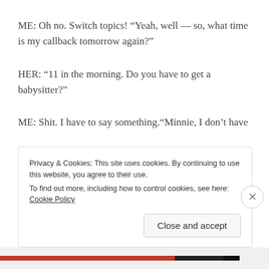ME: Oh no. Switch topics! “Yeah, well — so, what time is my callback tomorrow again?”
HER: “11 in the morning. Do you have to get a babysitter?”
ME: Shit. I have to say something.“Minnie, I don’t have
Privacy & Cookies: This site uses cookies. By continuing to use this website, you agree to their use.
To find out more, including how to control cookies, see here: Cookie Policy
Close and accept